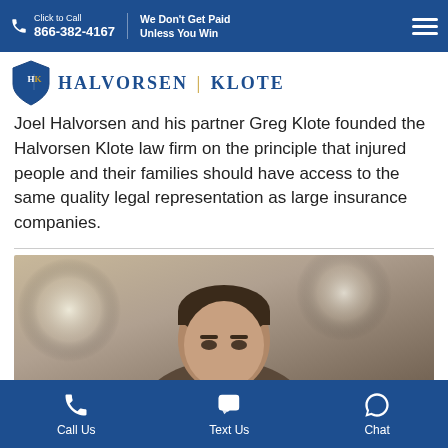Click to Call 866-382-4167 | We Don't Get Paid Unless You Win
[Figure (logo): Halvorsen Klote law firm shield logo with HK initials]
Joel Halvorsen and his partner Greg Klote founded the Halvorsen Klote law firm on the principle that injured people and their families should have access to the same quality legal representation as large insurance companies.
[Figure (photo): Professional headshot photo of a man (Joel Halvorsen or Greg Klote) with bokeh background]
Call Us | Text Us | Chat